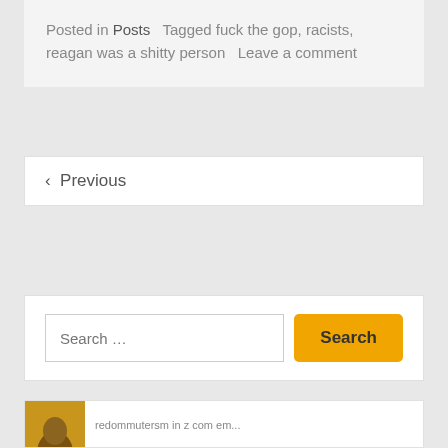Posted in Posts   Tagged fuck the gop, racists, reagan was a shitty person   Leave a comment
< Previous
Search ...
[Figure (photo): Partial view of a photo thumbnail at bottom of page with yellow/golden tones]